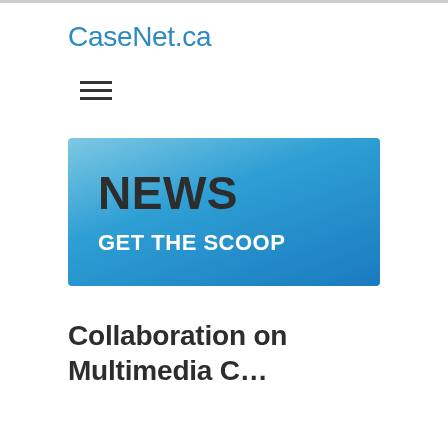CaseNet.ca
[Figure (other): Hamburger menu icon — three horizontal lines]
[Figure (other): News banner with blue gradient background containing 'NEWS' heading and 'GET THE SCOOP' subheading]
Collaboration on Multimedia C…